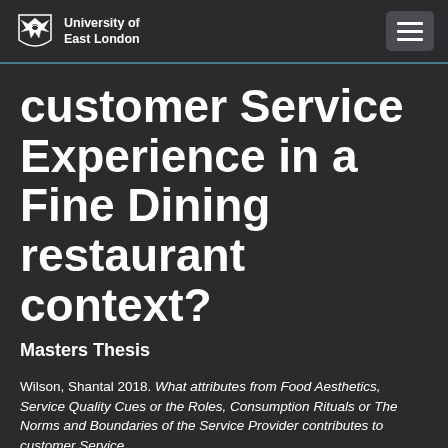University of East London
customer Service Experience in a Fine Dining restaurant context?
Masters Thesis
Wilson, Shantal 2018. What attributes from Food Aesthetics, Service Quality Cues or the Roles, Consumption Rituals or The Norms and Boundaries of the Service Provider contributes to customer Service